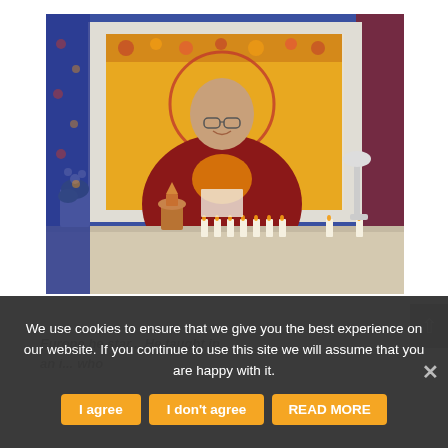[Figure (photo): A Tibetan Buddhist monk in dark red robes sits smiling behind a table with candles, a small stupa, and a white orchid plant. Behind him is a large framed thangka with golden background and floral designs, flanked by blue brocade fabric. A white desk lamp is visible to the right.]
Europe he star... He taught in an i... who
We use cookies to ensure that we give you the best experience on our website. If you continue to use this site we will assume that you are happy with it.